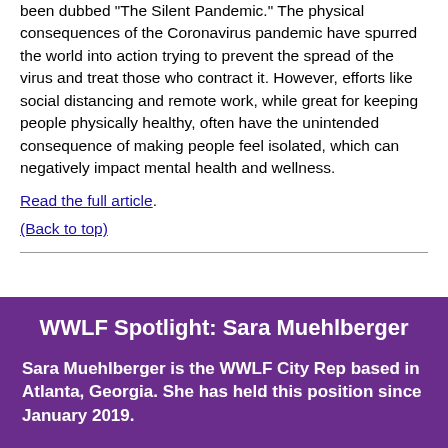been dubbed 'The Silent Pandemic.' The physical consequences of the Coronavirus pandemic have spurred the world into action trying to prevent the spread of the virus and treat those who contract it. However, efforts like social distancing and remote work, while great for keeping people physically healthy, often have the unintended consequence of making people feel isolated, which can negatively impact mental health and wellness.
Read the full article.
(Back to top)
WWLF Spotlight: Sara Muehlberger
Sara Muehlberger is the WWLF City Rep based in Atlanta, Georgia. She has held this position since January 2019.